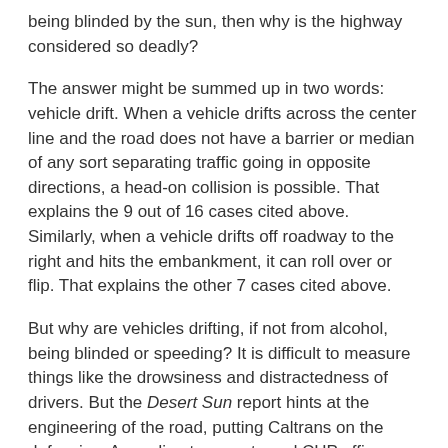being blinded by the sun, then why is the highway considered so deadly?
The answer might be summed up in two words: vehicle drift. When a vehicle drifts across the center line and the road does not have a barrier or median of any sort separating traffic going in opposite directions, a head-on collision is possible. That explains the 9 out of 16 cases cited above. Similarly, when a vehicle drifts off roadway to the right and hits the embankment, it can roll over or flip. That explains the other 7 cases cited above.
But why are vehicles drifting, if not from alcohol, being blinded or speeding? It is difficult to measure things like the drowsiness and distractedness of drivers. But the Desert Sun report hints at the engineering of the road, putting Caltrans on the defensive. According to experts and CHP officers, there may be little margin for error on the 62. One expert told the newspaper, “This is a road where someone needs to understand what is going on. You’ve made a case that is worthy of investigation by